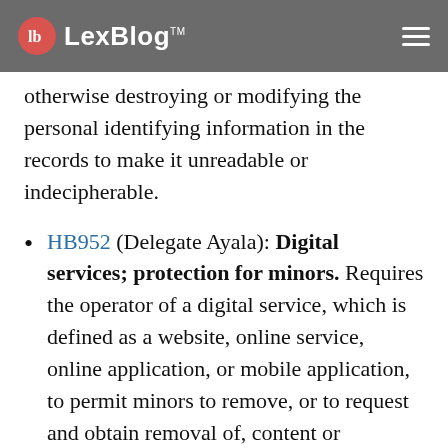LexBlog
otherwise destroying or modifying the personal identifying information in the records to make it unreadable or indecipherable.
HB952 (Delegate Ayala): Digital services; protection for minors. Requires the operator of a digital service, which is defined as a website, online service, online application, or mobile application, to permit minors to remove, or to request and obtain removal of, content or information posted on a digital service. The measure prohibits an operator of a digital service directed to minors from